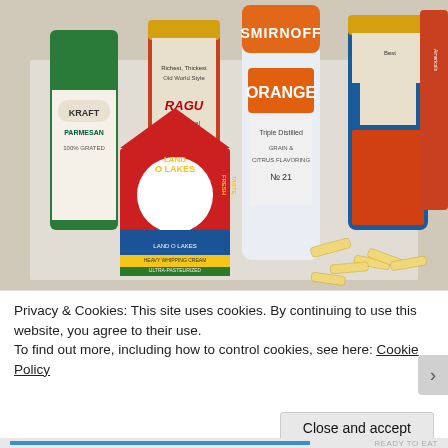[Figure (photo): Photo of grocery ingredients on a counter: Kraft Parmesan cheese shaker (green lid), two jars of Ragu pasta sauce (Old World Style Traditional), a bottle of Smirnoff Orange vodka, a Land O Lakes Fresh Taste whipping cream carton (red/blue), and penne pasta scattered on the counter.]
Privacy & Cookies: This site uses cookies. By continuing to use this website, you agree to their use.
To find out more, including how to control cookies, see here: Cookie Policy
Close and accept